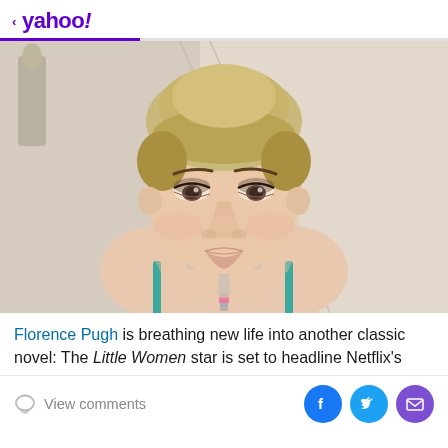< yahoo!
[Figure (photo): Close-up photo of Florence Pugh with blonde updo hair, wearing a teal spaghetti-strap dress and silver statement necklace, photographed at a red carpet event against a light background with Oscar statue visible]
Florence Pugh is breathing new life into another classic novel: The Little Women star is set to headline Netflix's
View comments